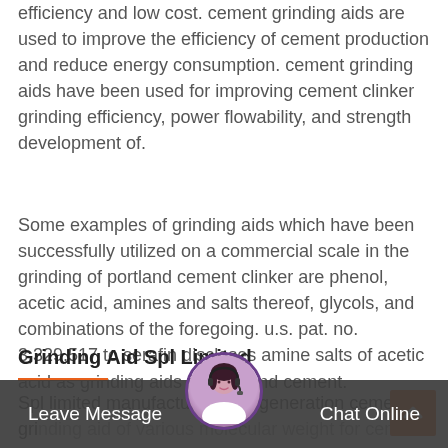efficiency and low cost. cement grinding aids are used to improve the efficiency of cement production and reduce energy consumption. cement grinding aids have been used for improving cement clinker grinding efficiency, power flowability, and strength development of.
Some examples of grinding aids which have been successfully utilized on a commercial scale in the grinding of portland cement clinker are phenol, acetic acid, amines and salts thereof, glycols, and combinations of the foregoing. u.s. pat. no. 3,329,517 to serafin discloses amine salts of acetic acid as grinding aids for portland cement.
Grinding Aid Spl Limited
Spl limited manufactures next generation cement grinding aid of various molecular weight for cement
[Figure (other): Website chat widget overlay: dark semi-transparent bar at bottom with 'Leave Message' on the left and 'Chat Online' on the right, with a circular avatar of a customer service agent in the center, and an orange back-to-top arrow button on the right side above the bar.]